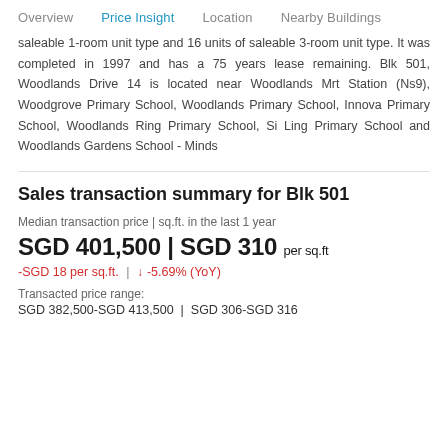Overview   Price Insight   Location   Nearby Buildings
saleable 1-room unit type and 16 units of saleable 3-room unit type. It was completed in 1997 and has a 75 years lease remaining. Blk 501, Woodlands Drive 14 is located near Woodlands Mrt Station (Ns9), Woodgrove Primary School, Woodlands Primary School, Innova Primary School, Woodlands Ring Primary School, Si Ling Primary School and Woodlands Gardens School - Minds
Sales transaction summary for Blk 501
Median transaction price | sq.ft. in the last 1 year
SGD 401,500 | SGD 310 per sq.ft
-SGD 18 per sq.ft.  |  ↓  -5.69% (YoY)
Transacted price range:
SGD 382,500-SGD 413,500  |  SGD 306-SGD 316